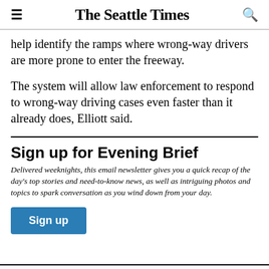The Seattle Times
help identify the ramps where wrong-way drivers are more prone to enter the freeway.
The system will allow law enforcement to respond to wrong-way driving cases even faster than it already does, Elliott said.
Sign up for Evening Brief
Delivered weeknights, this email newsletter gives you a quick recap of the day's top stories and need-to-know news, as well as intriguing photos and topics to spark conversation as you wind down from your day.
Sign up